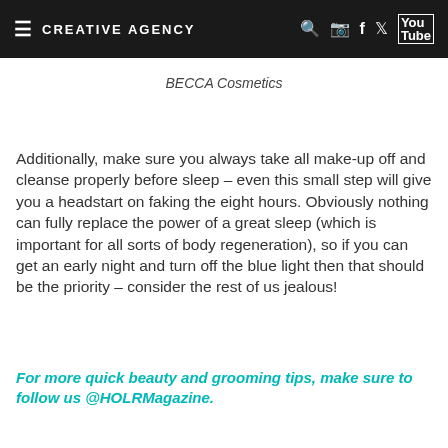CREATIVE AGENCY
BECCA Cosmetics
Additionally, make sure you always take all make-up off and cleanse properly before sleep – even this small step will give you a headstart on faking the eight hours. Obviously nothing can fully replace the power of a great sleep (which is important for all sorts of body regeneration), so if you can get an early night and turn off the blue light then that should be the priority – consider the rest of us jealous!
For more quick beauty and grooming tips, make sure to follow us @HOLRMagazine.